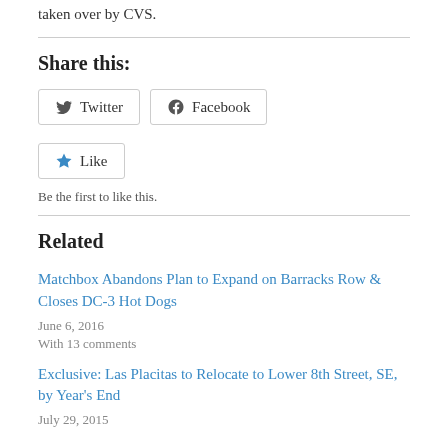taken over by CVS.
Share this:
Twitter  Facebook
Like
Be the first to like this.
Related
Matchbox Abandons Plan to Expand on Barracks Row & Closes DC-3 Hot Dogs
June 6, 2016
With 13 comments
Exclusive: Las Placitas to Relocate to Lower 8th Street, SE, by Year's End
July 29, 2015
With 7 comments